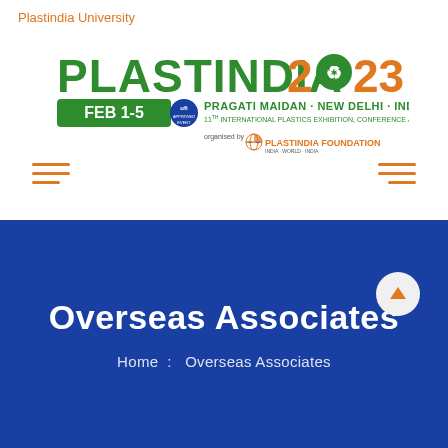Plastindia University
[Figure (logo): PLASTINDIA 2023 logo with FEB 1-5, Pragati Maidan, New Delhi, India, 11th International Plastics Exhibition, Conference & Convention, organised by Plastindia Foundation]
Overseas Associates
Home  :  Overseas Associates